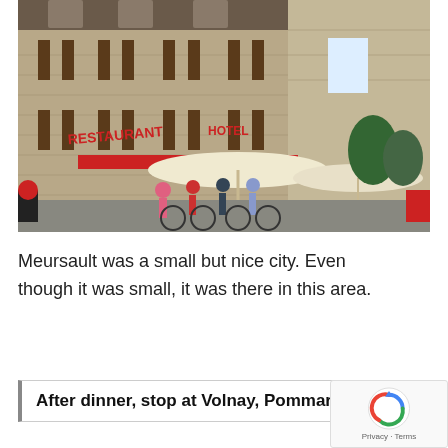[Figure (photo): Outdoor photo of a stone building with signs reading 'Restaurant' and 'Hotel', with cyclists and pedestrians gathered in front under large umbrellas on a sunny day.]
Meursault was a small but nice city. Even though it was small, it was there in this area.
After dinner, stop at Volnay, Pommard, e…